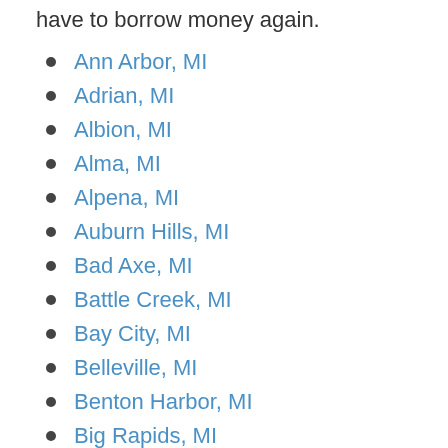have to borrow money again.
Ann Arbor, MI
Adrian, MI
Albion, MI
Alma, MI
Alpena, MI
Auburn Hills, MI
Bad Axe, MI
Battle Creek, MI
Bay City, MI
Belleville, MI
Benton Harbor, MI
Big Rapids, MI
Birmingham, MI
Brighton, MI
Burton, MI
Cadillac, MI
Caledonia, MI